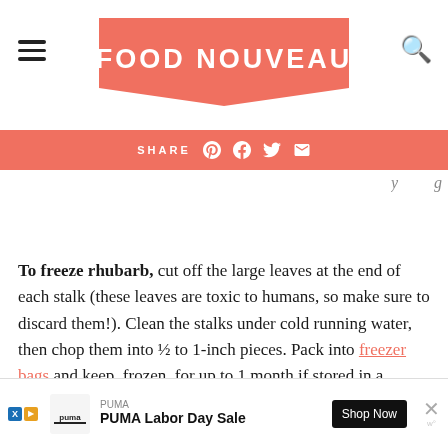FOOD NOUVEAU
SHARE
To freeze rhubarb, cut off the large leaves at the end of each stalk (these leaves are toxic to humans, so make sure to discard them!). Clean the stalks under cold running water, then chop them into ½ to 1-inch pieces. Pack into freezer bags and keep, frozen, for up to 1 month if stored in a refrigerator freezer, or for up to 12 months if stored in a chest freezer or any other freezer ma
[Figure (other): PUMA advertisement banner at bottom of page: PUMA logo, 'PUMA Labor Day Sale', Shop Now button, close X]